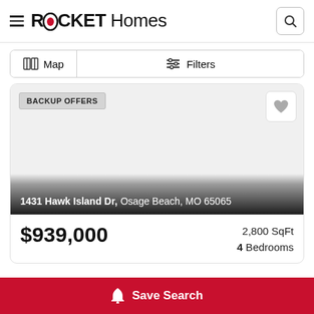ROCKET Homes
Map | Filters
[Figure (screenshot): Listing card for 1431 Hawk Island Dr, Osage Beach, MO 65065 with BACKUP OFFERS badge and heart button]
$939,000 | 2,800 SqFt | 4 Bedrooms
Save Search